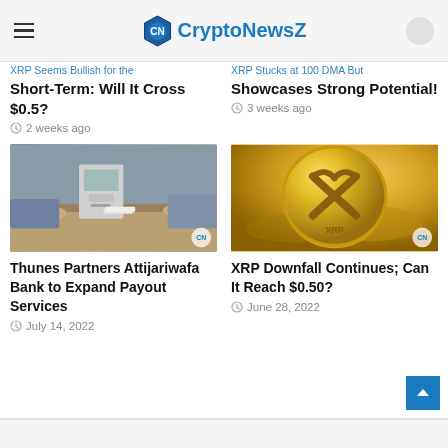CryptoNewsZ
XRP Seems Bullish for the Short-Term: Will It Cross $0.5?
2 weeks ago
XRP Stucks at 100 DMA But Showcases Strong Potential!
3 weeks ago
[Figure (photo): Bank teller counter with hands exchanging money and a payment terminal]
Thunes Partners Attijariwafa Bank to Expand Payout Services
July 14, 2022
[Figure (photo): Gold XRP cryptocurrency coins stacked together with XRP logo visible]
XRP Downfall Continues; Can It Reach $0.50?
June 28, 2022